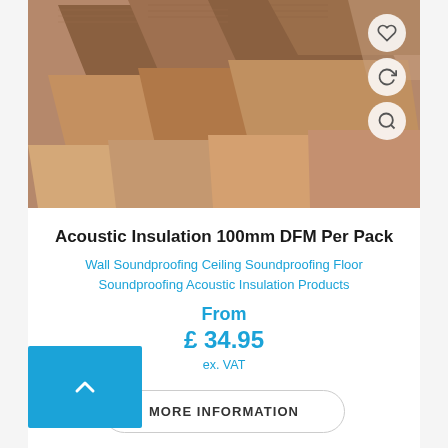[Figure (photo): Photo of stacked brown acoustic insulation boards (mineral wool / glass wool) arranged in layers, photographed close-up against a white background.]
Acoustic Insulation 100mm DFM Per Pack
Wall Soundproofing Ceiling Soundproofing Floor Soundproofing Acoustic Insulation Products
From £ 34.95 ex. VAT
MORE INFORMATION